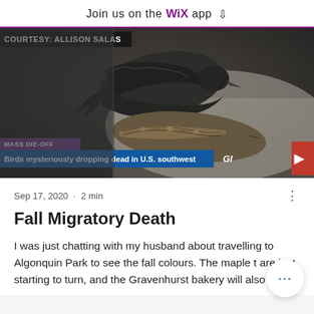Join us on the WiX app ⬇
[Figure (photo): News screenshot showing dead birds (mass die-off) lying on a surface, with a news banner overlay reading 'MASS DIE-OFF' and 'Birds mysteriously dropping dead in U.S. southwest'. Courtesy: Allison Salas. Globe TV logo visible.]
Sep 17, 2020 · 2 min
Fall Migratory Death
I was just chatting with my husband about travelling to Algonquin Park to see the fall colours. The maple t are just starting to turn, and the Gravenhurst bakery will also be